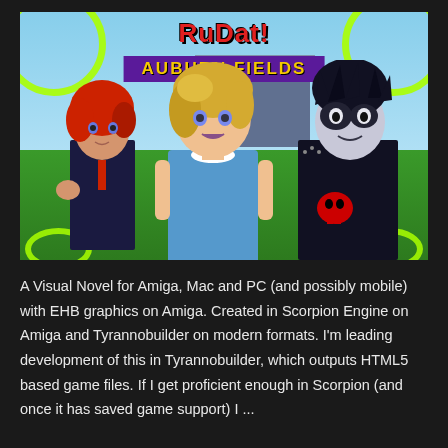[Figure (illustration): Pixel art game cover image showing three anime-style female characters standing outdoors in front of a school. Left character has red curly hair in a dark jacket, center character has blonde hair in a blue dress, right character has dark spiky hair with face paint/makeup in a dark punk jacket with a red skull emblem. Neon green rollercoaster loops frame the image. Title text at top reads 'Auburn Fields' on a purple banner, with stylized red logo text above it.]
A Visual Novel for Amiga, Mac and PC (and possibly mobile) with EHB graphics on Amiga. Created in Scorpion Engine on Amiga and Tyrannobuilder on modern formats. I'm leading development of this in Tyrannobuilder, which outputs HTML5 based game files. If I get proficient enough in Scorpion (and once it has saved game support) I ...